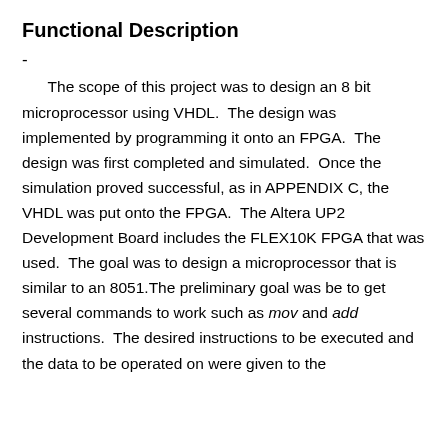Functional Description
-
The scope of this project was to design an 8 bit microprocessor using VHDL.  The design was implemented by programming it onto an FPGA.  The design was first completed and simulated.  Once the simulation proved successful, as in APPENDIX C, the VHDL was put onto the FPGA.  The Altera UP2 Development Board includes the FLEX10K FPGA that was used.  The goal was to design a microprocessor that is similar to an 8051.The preliminary goal was be to get several commands to work such as mov and add instructions.  The desired instructions to be executed and the data to be operated on were given to the